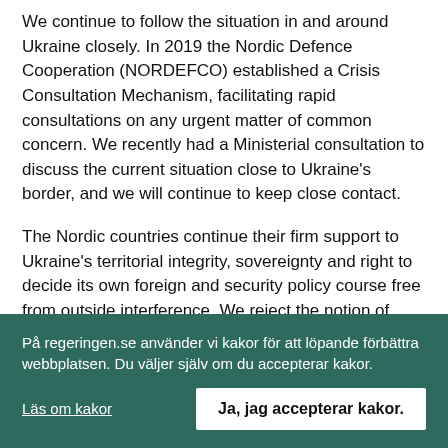We continue to follow the situation in and around Ukraine closely. In 2019 the Nordic Defence Cooperation (NORDEFCO) established a Crisis Consultation Mechanism, facilitating rapid consultations on any urgent matter of common concern. We recently had a Ministerial consultation to discuss the current situation close to Ukraine's border, and we will continue to keep close contact.
The Nordic countries continue their firm support to Ukraine's territorial integrity, sovereignty and right to decide its own foreign and security policy course free from outside interference. We reject the notion of spheres of influence in Europe.
The Minsk agreements and political dialogue remain the basis for solving the conflict in eastern Ukraine.
På regeringen.se använder vi kakor för att löpande förbättra webbplatsen. Du väljer själv om du accepterar kakor.
Läs om kakor
Ja, jag accepterar kakor.